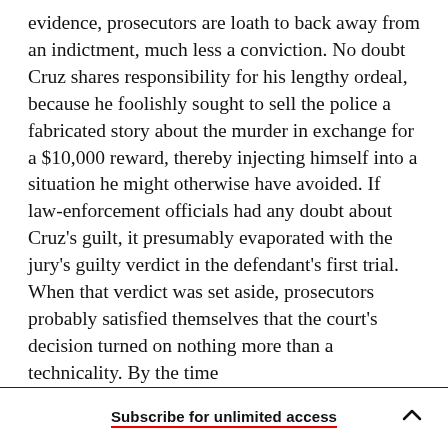evidence, prosecutors are loath to back away from an indictment, much less a conviction. No doubt Cruz shares responsibility for his lengthy ordeal, because he foolishly sought to sell the police a fabricated story about the murder in exchange for a $10,000 reward, thereby injecting himself into a situation he might otherwise have avoided. If law-enforcement officials had any doubt about Cruz's guilt, it presumably evaporated with the jury's guilty verdict in the defendant's first trial. When that verdict was set aside, prosecutors probably satisfied themselves that the court's decision turned on nothing more than a technicality. By the time
Subscribe for unlimited access